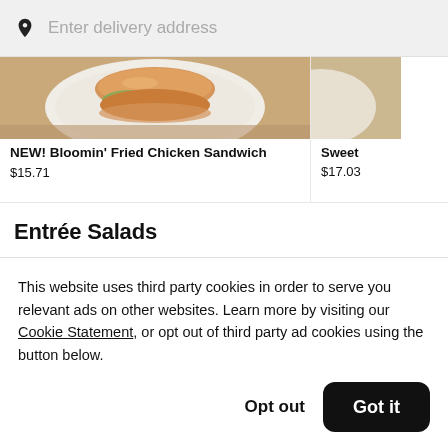Enter delivery address
[Figure (photo): Partial view of a fried chicken sandwich on a plate with garnish]
NEW! Bloomin' Fried Chicken Sandwich
$15.71
Sweet
$17.03
Entrée Salads
This website uses third party cookies in order to serve you relevant ads on other websites. Learn more by visiting our Cookie Statement, or opt out of third party ad cookies using the button below.
Opt out
Got it